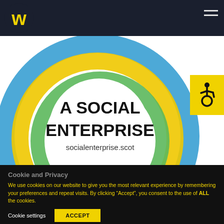[Figure (logo): Yellow W logo in dark circle on dark navy header bar with hamburger menu icon top right]
[Figure (illustration): A Social Enterprise badge with concentric swirling rings in blue, yellow, and green on white background. Text reads 'A SOCIAL ENTERPRISE' and 'socialenterprise.scot'. Yellow accessibility wheelchair icon box on right side.]
Cookie and Privacy
We use cookies on our website to give you the most relevant experience by remembering your preferences and repeat visits. By clicking “Accept”, you consent to the use of ALL the cookies.
Cookie settings
ACCEPT